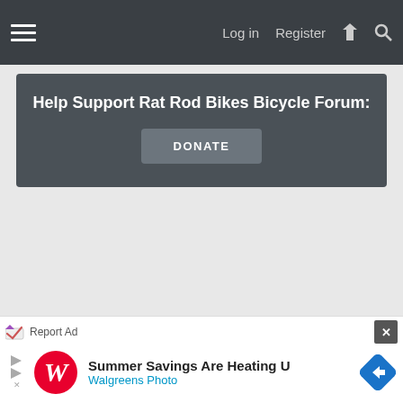Log in   Register
Help Support Rat Rod Bikes Bicycle Forum:
DONATE
[Figure (screenshot): Advertisement banner: Report Ad label with checkmark icon, close button (X), Walgreens Photo ad with text 'Summer Savings Are Heating U' and 'Walgreens Photo' and a blue diamond arrow icon]